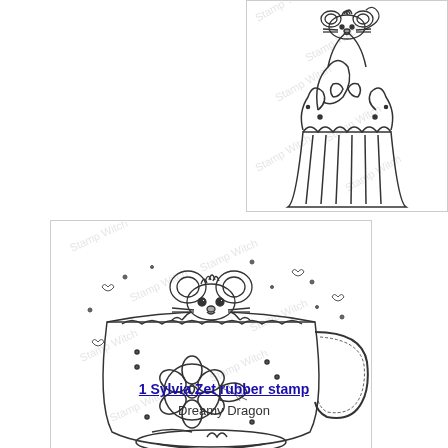[Figure (illustration): Line art rubber stamp illustration of a cute mouse sitting on top of a cupcake with swirly frosting and a striped cupcake wrapper, with watermark text overlay]
[Figure (illustration): Line art rubber stamp illustration of a cute mouse peeking out of a decorative teacup with a flower design and ornate handle, surrounded by small hearts and dots, with watermark text overlay]
1 Sylvia Zet rubber stamp
Dreamy Dragon